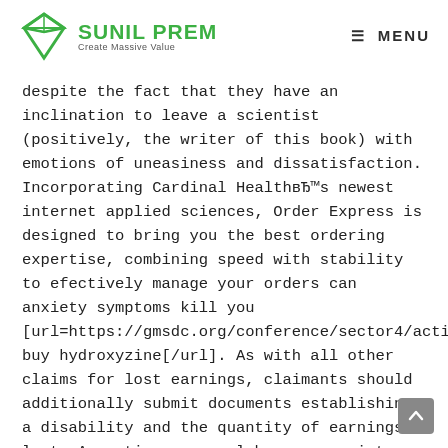SUNIL PREM — Create Massive Value | MENU
despite the fact that they have an inclination to leave a scientist (positively, the writer of this book) with emotions of uneasiness and dissatisfaction. Incorporating Cardinal HealthвЂ™s newest internet applied sciences, Order Express is designed to bring you the best ordering expertise, combining speed with stability to efectively manage your orders can anxiety symptoms kill you [url=https://gmsdc.org/conference/sector4/activity3/]best buy hydroxyzine[/url]. As with all other claims for lost earnings, claimants should additionally submit documents establishing a disability and the quantity of earnings lost. An optic nerve coloboma may exist independently or be related to colobomatous defects in the retina and choroid